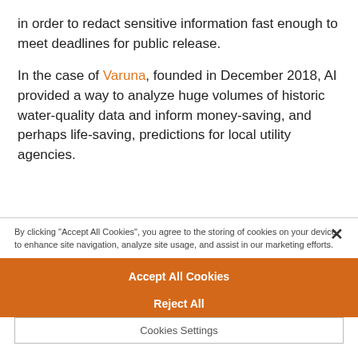in order to redact sensitive information fast enough to meet deadlines for public release.
In the case of Varuna, founded in December 2018, AI provided a way to analyze huge volumes of historic water-quality data and inform money-saving, and perhaps life-saving, predictions for local utility agencies.
×
By clicking "Accept All Cookies", you agree to the storing of cookies on your device to enhance site navigation, analyze site usage, and assist in our marketing efforts.
Accept All Cookies
Reject All
Cookies Settings